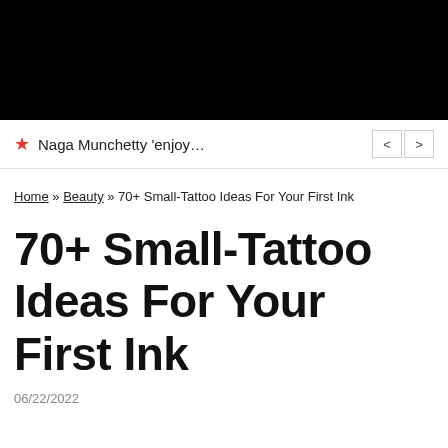[Figure (photo): Black banner image at the top of the page]
Naga Munchetty 'enjoy…
Home » Beauty » 70+ Small-Tattoo Ideas For Your First Ink
70+ Small-Tattoo Ideas For Your First Ink
06/22/2022